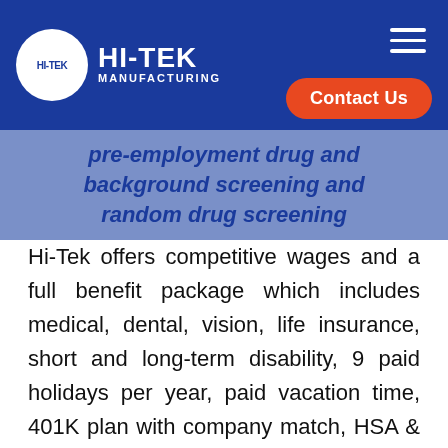HI-TEK MANUFACTURING
pre-employment drug and background screening and random drug screening
Hi-Tek offers competitive wages and a full benefit package which includes medical, dental, vision, life insurance, short and long-term disability, 9 paid holidays per year, paid vacation time, 401K plan with company match, HSA & Flex Spending programs, supplemental health plans, and more! Hi-Tek offers a